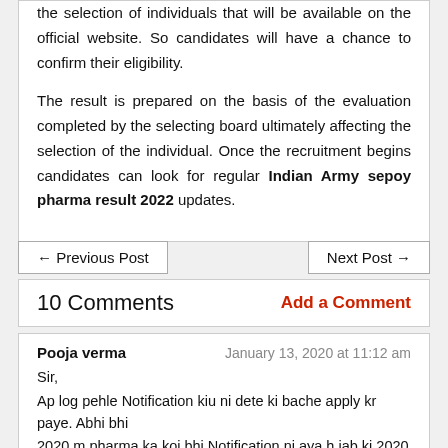the selection of individuals that will be available on the official website. So candidates will have a chance to confirm their eligibility.

The result is prepared on the basis of the evaluation completed by the selecting board ultimately affecting the selection of the individual. Once the recruitment begins candidates can look for regular Indian Army sepoy pharma result 2022 updates.
← Previous Post
Next Post →
10 Comments
Add a Comment
Pooja verma
January 13, 2020 at 11:12 am
Sir,
Ap log pehle Notification kiu ni dete ki bache apply kr paye. Abhi bhi 2020 m pharma ka koi bhi Notification ni aya h jab ki 2020 ki bharti aai